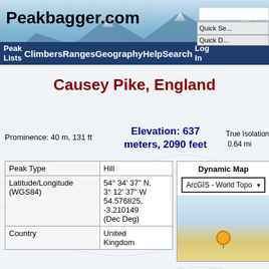Peakbagger.com — Peak Lists, Climbers, Ranges, Geography, Help, Search, Log In
Causey Pike, England
Prominence: 40 m, 131 ft
Elevation: 637 meters, 2090 feet
True Isolation: 1.03 km, 0.64 mi
|  |  |
| --- | --- |
| Peak Type | Hill |
| Latitude/Longitude (WGS84) | 54° 34' 37" N, 3° 12' 37" W 54.576825, -3.210149 (Dec Deg) |
| Country | United Kingdom |
Dynamic Map
ArcGIS - World Topo ▾